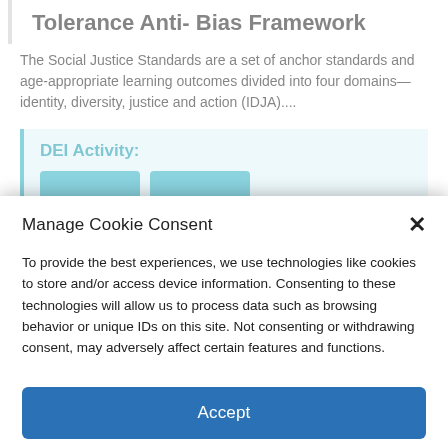Tolerance Anti- Bias Framework
The Social Justice Standards are a set of anchor standards and age-appropriate learning outcomes divided into four domains—identity, diversity, justice and action (IDJA)....
DEI Activity:
Manage Cookie Consent
To provide the best experiences, we use technologies like cookies to store and/or access device information. Consenting to these technologies will allow us to process data such as browsing behavior or unique IDs on this site. Not consenting or withdrawing consent, may adversely affect certain features and functions.
Accept
Cookie Policy   Privacy Statement